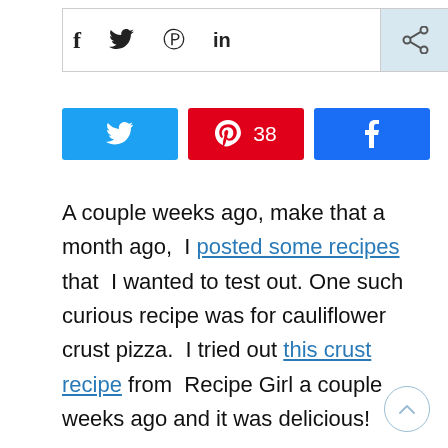[Figure (screenshot): Social share bar with Facebook (f), Twitter (bird), Pinterest (P), LinkedIn (in), and share icons]
[Figure (infographic): Three social sharing buttons: Twitter (blue), Pinterest (red with count 38), Facebook (blue)]
A couple weeks ago, make that a month ago, I posted some recipes that I wanted to test out. One such curious recipe was for cauliflower crust pizza. I tried out this crust recipe from Recipe Girl a couple weeks ago and it was delicious!